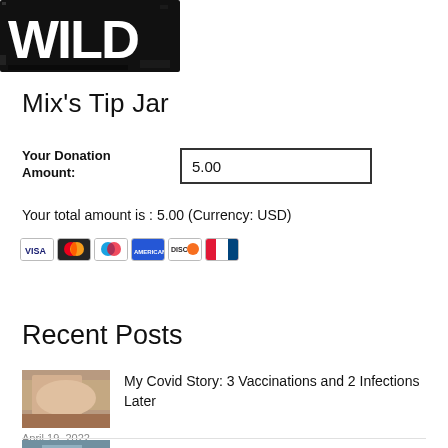[Figure (logo): WILD logo in bold black block letters on distressed/grunge background]
Mix's Tip Jar
Your Donation Amount:
5.00
Your total amount is : 5.00 (Currency: USD)
[Figure (other): PayPal Donate button (yellow rounded rectangle with bold Donate text) and payment card icons (Visa, Mastercard, Maestro, Amex, Discover, UnionPay)]
Recent Posts
[Figure (photo): Thumbnail photo (brownish/skin tones, blurry close-up)]
My Covid Story: 3 Vaccinations and 2 Infections Later
April 19, 2022
[Figure (photo): Partial thumbnail photo at bottom (blue/grey tones)]